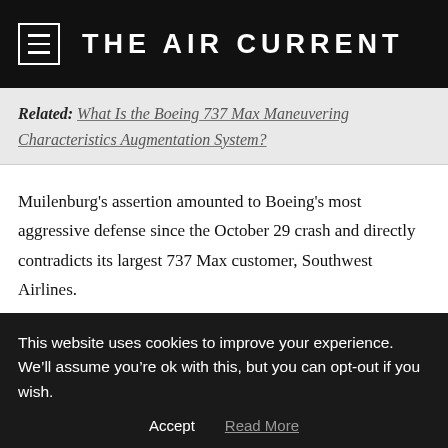THE AIR CURRENT
Related: What Is the Boeing 737 Max Maneuvering Characteristics Augmentation System?
Muilenburg's assertion amounted to Boeing's most aggressive defense since the October 29 crash and directly contradicts its largest 737 Max customer, Southwest Airlines.
Southwest's pilots were told by its management last week: “Since it operates in situations where the aircraft
This website uses cookies to improve your experience. We’ll assume you’re ok with this, but you can opt-out if you wish.